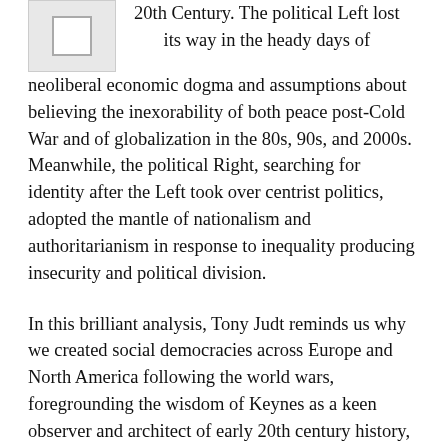[Figure (illustration): Thumbnail image placeholder (book cover or similar), partially visible at top-left corner]
20th Century. The political Left lost its way in the heady days of neoliberal economic dogma and assumptions about believing the inexorability of both peace post-Cold War and of globalization in the 80s, 90s, and 2000s. Meanwhile, the political Right, searching for identity after the Left took over centrist politics, adopted the mantle of nationalism and authoritarianism in response to inequality producing insecurity and political division.
In this brilliant analysis, Tony Judt reminds us why we created social democracies across Europe and North America following the world wars, foregrounding the wisdom of Keynes as a keen observer and architect of early 20th century history, politics, and economics. There are certain things only governments can do: ensure that economic gains do not unfairly accrue to the few (as